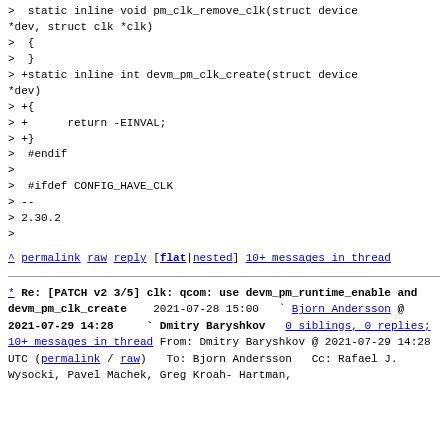> static inline void pm_clk_remove_clk(struct device *dev, struct clk *clk)
> {
> }
> +static inline int devm_pm_clk_create(struct device *dev)
> +{
> +      return -EINVAL;
> +}
>  #endif
>
>  #ifdef CONFIG_HAVE_CLK
> --
> 2.30.2
>
^ permalink raw reply   [flat|nested] 10+ messages in thread
* Re: [PATCH v2 3/5] clk: qcom: use devm_pm_runtime_enable and devm_pm_clk_create
   2021-07-28 15:00   ` Bjorn Andersson
@ 2021-07-29 14:28     ` Dmitry Baryshkov
  0 siblings, 0 replies; 10+ messages in thread
From: Dmitry Baryshkov @ 2021-07-29 14:28 UTC
(permalink / raw)
  To: Bjorn Andersson
  Cc: Rafael J. Wysocki, Pavel Machek, Greg Kroah-Hartman,